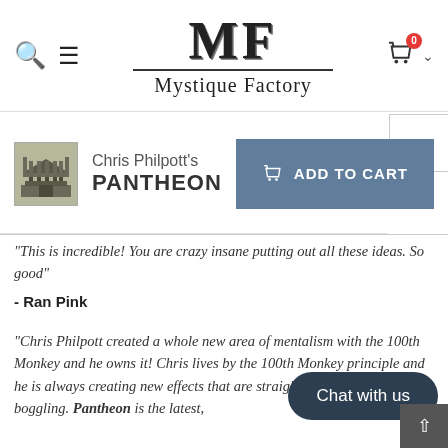[Figure (logo): Mystique Factory logo with large MF letters and shop name]
Chris Philpott's PANTHEON
ADD TO CART
"This is incredible! You are crazy insane putting out all these ideas. So good"
- Ran Pink
"Chris Philpott created a whole new area of mentalism with the 100th Monkey and he owns it! Chris lives by the 100th Monkey principle and he is always creating new effects that are straightforward and mind-boggling. Pantheon is the latest,